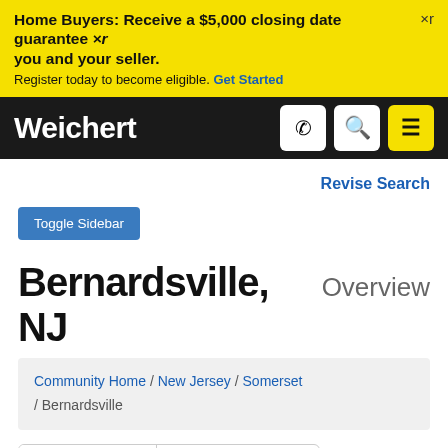Home Buyers: Receive a $5,000 closing date guarantee ×r you and your seller. Register today to become eligible. Get Started
[Figure (screenshot): Weichert real estate website navigation bar with logo, phone, search, and menu icons]
Revise Search
Toggle Sidebar
Bernardsville, NJ Overview
Community Home / New Jersey / Somerset / Bernardsville
Community   Schools